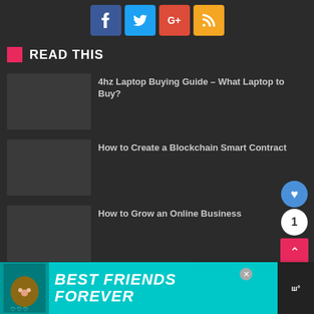[Figure (other): Social sharing buttons: Facebook, Twitter, Google+, RSS feed]
READ THIS
4hz Laptop Buying Guide – What Laptop to Buy?
How to Create a Blockchain Smart Contract
How to Grow an Online Business
Reinvent Your Experience: Mario Kart 8 Deluxe
[Figure (other): WHAT'S NEXT: PSP Vita to come in an...]
[Figure (other): Advertisement banner: BEST FRIENDS FOREVER with cat image]